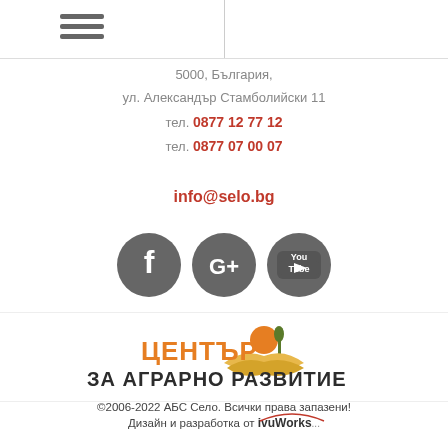5000, България,
ул. Александър Стамболийски 11
тел. 0877 12 77 12
тел. 0877 07 00 07
info@selo.bg
[Figure (logo): Social media icons: Facebook, Google+, YouTube]
[Figure (logo): Център за аграрно развитие logo with orange sun and green tree above yellow wheat field graphic]
©2006-2022 АБС Село. Всички права запазени!
Дизайн и разработка от ivuWorks...